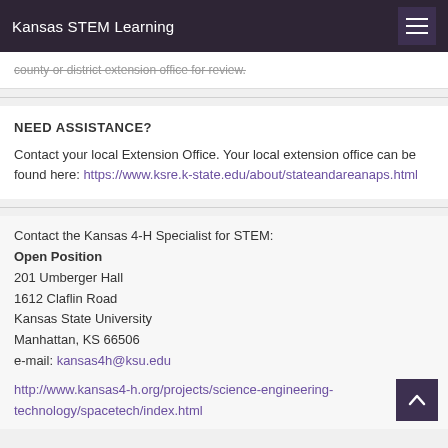Kansas STEM Learning
county or district extension office for review.
NEED ASSISTANCE?
Contact your local Extension Office. Your local extension office can be found here: https://www.ksre.k-state.edu/about/stateandareanaps.html
Contact the Kansas 4-H Specialist for STEM:
Open Position
201 Umberger Hall
1612 Claflin Road
Kansas State University
Manhattan, KS 66506
e-mail: kansas4h@ksu.edu
http://www.kansas4-h.org/projects/science-engineering-technology/spacetech/index.html